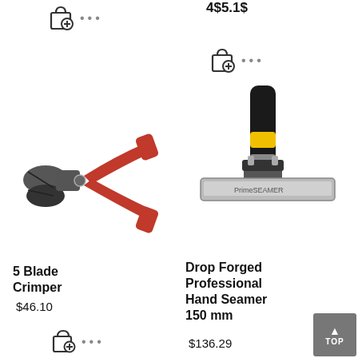[Figure (photo): Partial shopping bag icon with plus sign and three dots, top of left column]
[Figure (photo): Partial price text '4$5.1$' or similar, top of right column]
[Figure (photo): Shopping bag icon with plus sign and three dots, top right column]
[Figure (photo): 5 Blade Crimper tool with red handles]
[Figure (photo): Drop Forged Professional Hand Seamer 150mm tool with black and yellow handle]
5 Blade Crimper
$46.10
Drop Forged Professional Hand Seamer 150 mm
$136.29
[Figure (photo): Shopping bag icon with plus sign and three dots, bottom of left column]